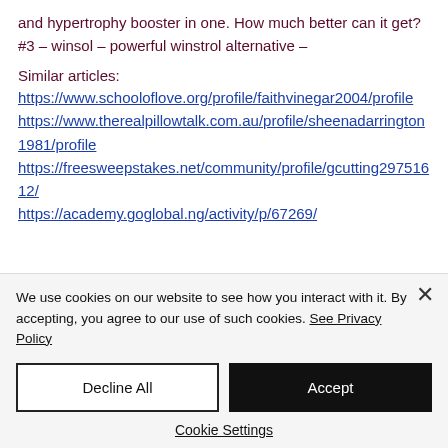and hypertrophy booster in one. How much better can it get? #3 – winsol – powerful winstrol alternative –
Similar articles:
https://www.schooloflove.org/profile/faithvinegar2004/profile https://www.therealpillowtalk.com.au/profile/sheenadarrington1981/profile https://freesweepstakes.net/community/profile/gcutting29751612/ https://academy.goglobal.ng/activity/p/67269/
We use cookies on our website to see how you interact with it. By accepting, you agree to our use of such cookies. See Privacy Policy
Decline All
Accept
Cookie Settings